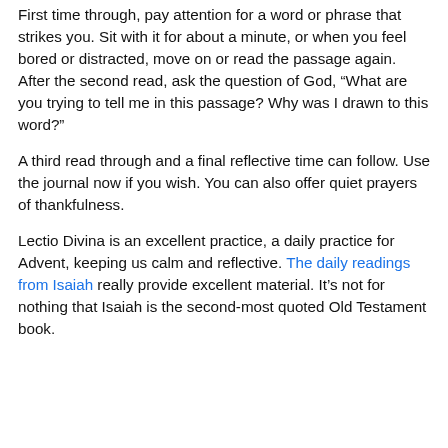First time through, pay attention for a word or phrase that strikes you. Sit with it for about a minute, or when you feel bored or distracted, move on or read the passage again. After the second read, ask the question of God, “What are you trying to tell me in this passage? Why was I drawn to this word?”
A third read through and a final reflective time can follow. Use the journal now if you wish. You can also offer quiet prayers of thankfulness.
Lectio Divina is an excellent practice, a daily practice for Advent, keeping us calm and reflective. The daily readings from Isaiah really provide excellent material. It’s not for nothing that Isaiah is the second-most quoted Old Testament book.